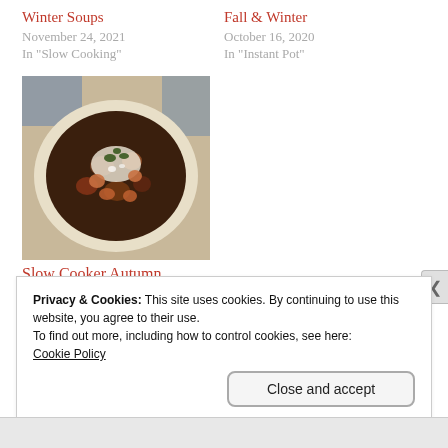Winter Soups
November 24, 2021
In "Slow Cooking"
Fall & Winter
October 16, 2020
In "Instant Pot"
[Figure (photo): A bowl of chili with beans and toppings in a cream-colored bowl]
Slow Cooker Autumn Chili
October 16, 2018
In "Slow Cooking"
Privacy & Cookies: This site uses cookies. By continuing to use this website, you agree to their use.
To find out more, including how to control cookies, see here:
Cookie Policy

Close and accept